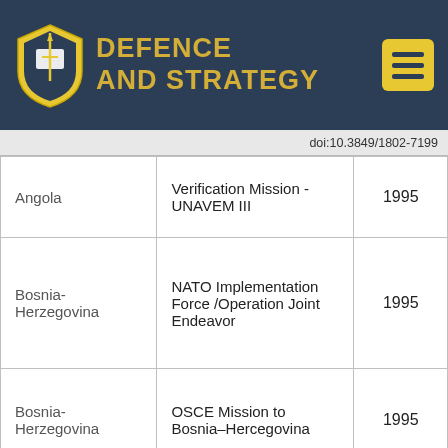DEFENCE AND STRATEGY
doi:10.3849/1802-7199
|  |  |  |
| --- | --- | --- |
| Angola | Verification Mission - UNAVEM III | 1995 |
| Bosnia-Herzegovina | NATO Implementation Force /Operation Joint Endeavor | 1995 |
| Bosnia-Herzegovina | OSCE Mission to Bosnia–Hercegovina | 1995 |
| Bosnia-Herzegovina | UN Mission in Bosnia-Herzegovina - | 1995 |